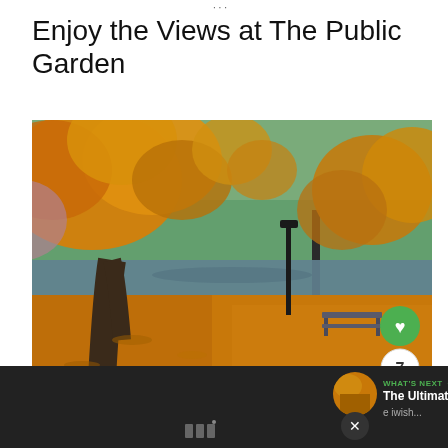Enjoy the Views at The Public Garden
[Figure (photo): Autumn scene in The Public Garden showing golden/orange fall foliage on trees, fallen leaves covering the ground, a park bench, a lamp post, and a pond reflecting the colorful trees in the background. Green heart/share social buttons overlay the bottom-right corner of the photo.]
WHAT'S NEXT → The Ultimate